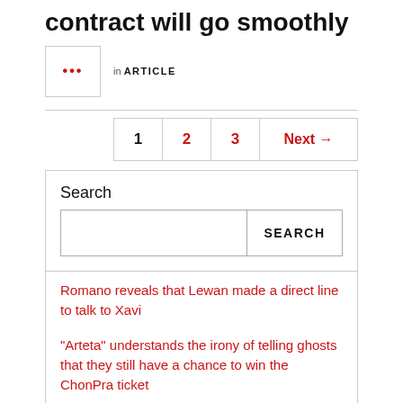contract will go smoothly
in ARTICLE
1   2   3   Next →
Search
SEARCH
Romano reveals that Lewan made a direct line to talk to Xavi
“Arteta” understands the irony of telling ghosts that they still have a chance to win the ChonPra ticket
Aston Villa keep an eye on ‘Wijnaldum’ Paris put a sign of 21 million baht